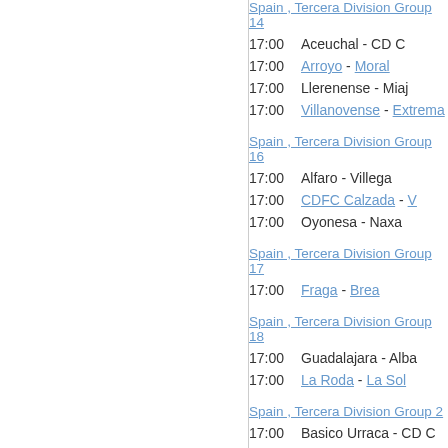Spain , Tercera Division Group 14
17:00   Aceuchal - CD C
17:00   Arroyo - Moral
17:00   Llerenense - Miaj
17:00   Villanovense - Extrema
Spain , Tercera Division Group 16
17:00   Alfaro - Villega
17:00   CDFC Calzada - V
17:00   Oyonesa - Naxa
Spain , Tercera Division Group 17
17:00   Fraga - Brea
Spain , Tercera Division Group 18
17:00   Guadalajara - Alba
17:00   La Roda - La Sol
Spain , Tercera Division Group 2
17:00   Basico Urraca - CD C
17:00   Union Club Ceares -